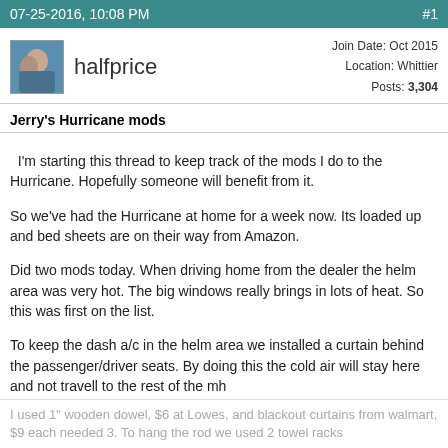07-25-2016, 10:08 PM   #1
halfprice
Join Date: Oct 2015
Location: Whittier
Posts: 3,304
Jerry's Hurricane mods
I'm starting this thread to keep track of the mods I do to the Hurricane. Hopefully someone will benefit from it.

So we've had the Hurricane at home for a week now. Its loaded up and bed sheets are on their way from Amazon.

Did two mods today. When driving home from the dealer the helm area was very hot. The big windows really brings in lots of heat. So this was first on the list.

To keep the dash a/c in the helm area we installed a curtain behind the passenger/driver seats. By doing this the cold air will stay here and not travell to the rest of the mh
I used 1" wooden dowel, $6 at Lowes, and blackout curtains from walmart, $9 each needed 3. To hang the rod we used 2 towel racks